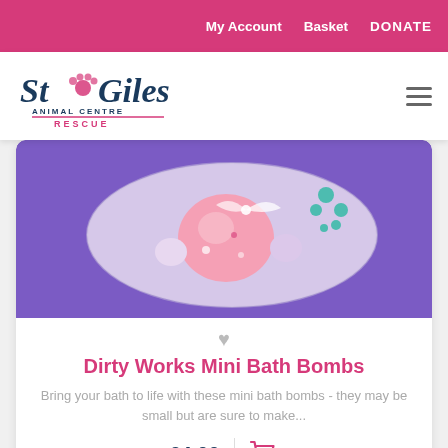My Account  Basket  DONATE
[Figure (logo): St Giles Animal Centre Rescue logo with paw print]
[Figure (photo): Photo of Dirty Works Mini Bath Bombs product on a blue/purple background]
Dirty Works Mini Bath Bombs
Bring your bath to life with these mini bath bombs - they may be small but are sure to make...
£4.00